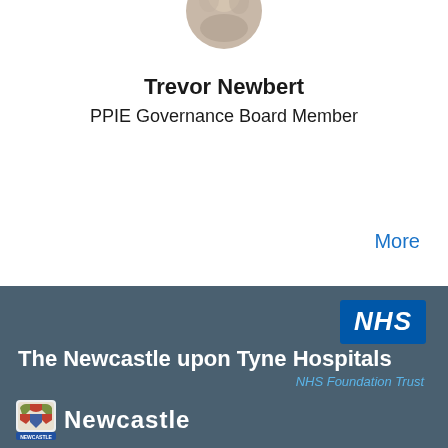[Figure (photo): Circular headshot photo of Trevor Newbert, partially visible at top of page]
Trevor Newbert
PPIE Governance Board Member
More
[Figure (logo): NHS logo (blue rectangle with white bold italic NHS text) and The Newcastle upon Tyne Hospitals NHS Foundation Trust text, with Newcastle city logo at bottom]